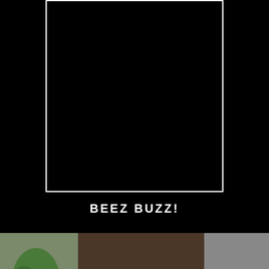[Figure (other): Black rectangle with white border representing a video player placeholder]
BEEZ BUZZ!
[Figure (photo): A decorative red flower (possibly fondant/sugar craft) on a chocolate cake, photographed indoors with blurred background]
[Figure (other): Yellow circular chat/message button icon at bottom left]
[Figure (other): Green circular phone/call button icon at bottom right]